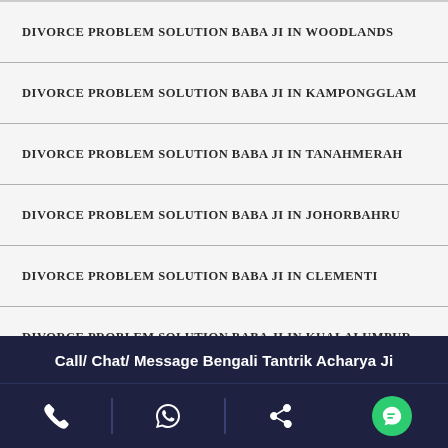DIVORCE PROBLEM SOLUTION BABA JI IN WOODLANDS
DIVORCE PROBLEM SOLUTION BABA JI IN KAMPONGGLAM
DIVORCE PROBLEM SOLUTION BABA JI IN TANAHMERAH
DIVORCE PROBLEM SOLUTION BABA JI IN JOHORBAHRU
DIVORCE PROBLEM SOLUTION BABA JI IN CLEMENTI
DIVORCE PROBLEM SOLUTION BABA JI IN KUALALUMPUR
DIVORCE PROBLEM SOLUTION BABA JI IN KOTAKINABALU
DIVORCE PROBLEM SOLUTION BABA JI IN KUCHING
DIVORCE PROBLEM SOLUTION BABA JI IN GEORGETOWN
Call/ Chat/ Message Bengali Tantrik Acharya Ji